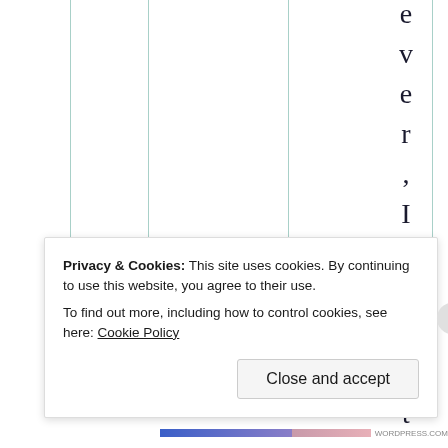[Figure (other): A table with teal/green vertical column dividers, partially visible. Rotated text reading 'ever, I do not' is displayed vertically letter by letter in the rightmost column area.]
Privacy & Cookies: This site uses cookies. By continuing to use this website, you agree to their use.
To find out more, including how to control cookies, see here: Cookie Policy
Close and accept